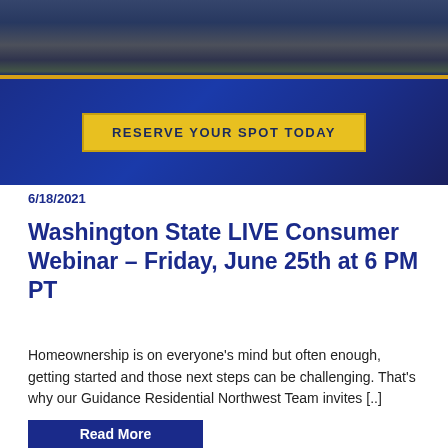[Figure (photo): Banner image with a house photo at the top, a gold dividing line, and a deep blue section below containing a yellow 'RESERVE YOUR SPOT TODAY' button]
6/18/2021
Washington State LIVE Consumer Webinar – Friday, June 25th at 6 PM PT
Homeownership is on everyone's mind but often enough, getting started and those next steps can be challenging. That's why our Guidance Residential Northwest Team invites [..]
Read More